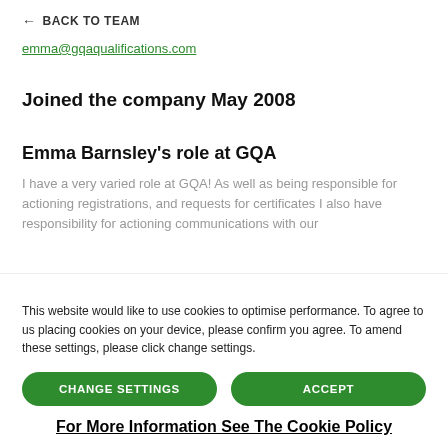← BACK TO TEAM
emma@gqaqualifications.com
Joined the company May 2008
Emma Barnsley's role at GQA
I have a very varied role at GQA! As well as being responsible for actioning registrations, and requests for certificates I also have responsibility for actioning communications with our
GQA Qualifications celebrates 20 years of
This website would like to use cookies to optimise performance. To agree to us placing cookies on your device, please confirm you agree. To amend these settings, please click change settings.
CHANGE SETTINGS
ACCEPT
For More Information See The Cookie Policy